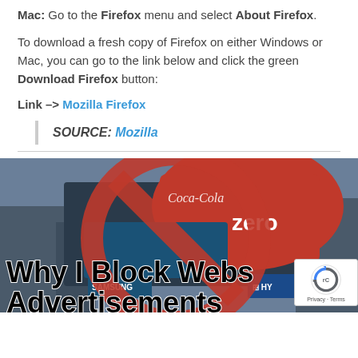Mac: Go to the Firefox menu and select About Firefox.
To download a fresh copy of Firefox on either Windows or Mac, you can go to the link below and click the green Download Firefox button:
Link –> Mozilla Firefox
SOURCE: Mozilla
[Figure (photo): Photo showing city billboards with a large red prohibition/no symbol overlaid, and text reading 'Why I Block Website Advertisements']